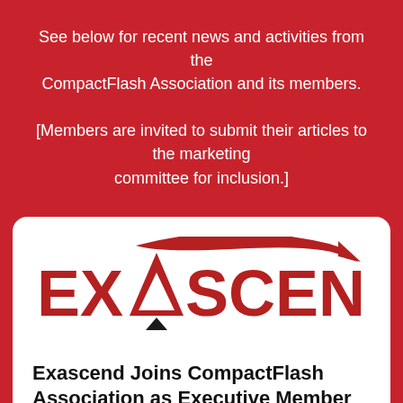See below for recent news and activities from the CompactFlash Association and its members. [Members are invited to submit their articles to the marketing committee for inclusion.]
[Figure (logo): Exascend company logo — bold red letters EX with a triangle/arrow icon in the A, followed by ASCEND in red, with a curved red swoosh/arrow above]
Exascend Joins CompactFlash Association as Executive Member
August 21, 2022